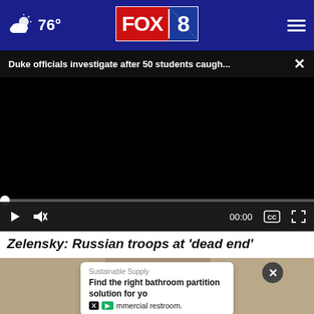76° FOX 8
Duke officials investigate after 50 students caugh... ×
[Figure (screenshot): Black video player area with playback controls at bottom: play button, mute icon, timestamp 00:00, CC button, fullscreen button, and a progress bar with white dot at start.]
Zelensky: Russian troops at 'dead end'
[Figure (photo): Partial article image below the headline, with an ad overlay card reading: 'Sustainable Supply — Find the right bathroom partition solution for yo mmercial restroom.' with X and play icons, and a dark circular close button.]